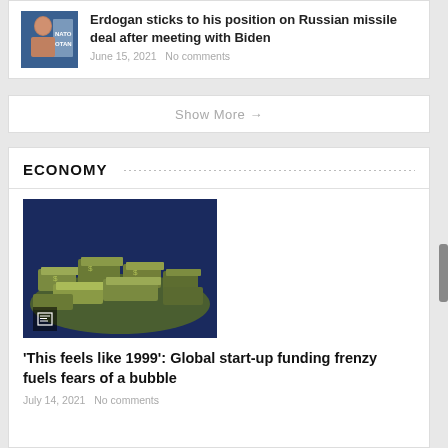[Figure (photo): Photo of Erdogan speaking in front of NATO/OTAN sign]
Erdogan sticks to his position on Russian missile deal after meeting with Biden
June 15, 2021   No comments
Show More →
ECONOMY
[Figure (photo): Pile of US dollar bill stacks on a dark blue background with a news icon overlay]
'This feels like 1999': Global start-up funding frenzy fuels fears of a bubble
July 14, 2021   No comments